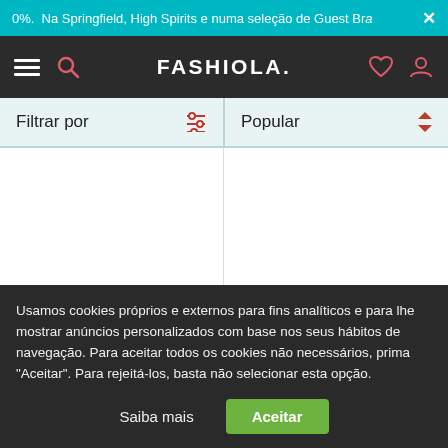0%. Na Springfield, High Spirits e numa seleção de Guest Bra ×
[Figure (screenshot): FASHIOLA. navigation bar with hamburger menu, search icon, brand logo, heart icon, and user icon]
Filtrar por   Popular
[Figure (screenshot): Two product cells showing 340,00 € VALENTINO items in a two-column grid]
Usamos cookies próprios e externos para fins analíticos e para lhe mostrar anúncios personalizados com base nos seus hábitos de navegação. Para aceitar todos os cookies não necessários, prima "Aceitar". Para rejeitá-los, basta não selecionar esta opção.
Saiba mais   Aceitar